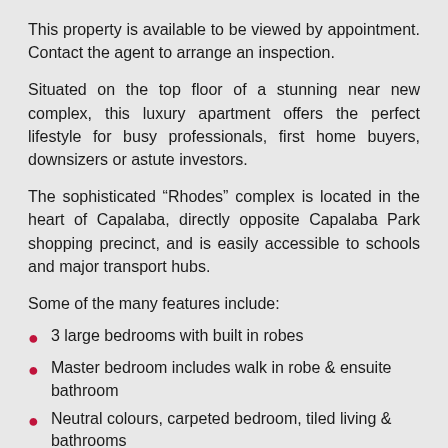This property is available to be viewed by appointment. Contact the agent to arrange an inspection.
Situated on the top floor of a stunning near new complex, this luxury apartment offers the perfect lifestyle for busy professionals, first home buyers, downsizers or astute investors.
The sophisticated “Rhodes” complex is located in the heart of Capalaba, directly opposite Capalaba Park shopping precinct, and is easily accessible to schools and major transport hubs.
Some of the many features include:
3 large bedrooms with built in robes
Master bedroom includes walk in robe & ensuite bathroom
Neutral colours, carpeted bedroom, tiled living & bathrooms
Open plan living area extending out onto a sizable balcony
Modern kitchen with ample storage & stone bench